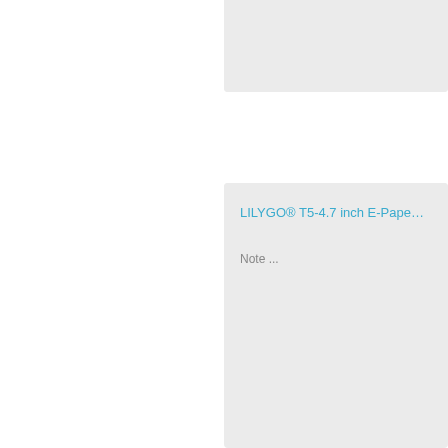[Figure (screenshot): Top partial card on right side, light gray background, content clipped]
LILYGO® T5-4.7 inch E-Pape…
Note ...
[Figure (screenshot): Bottom partial card on right side, light gray background, content clipped]